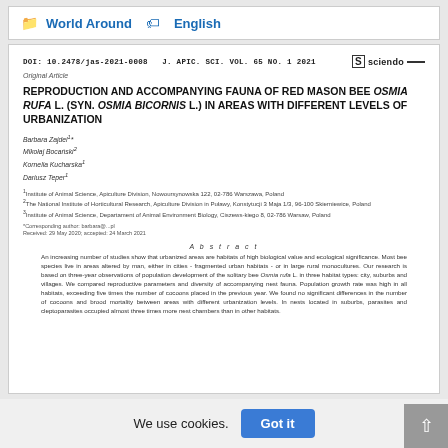World Around   English
DOI: 10.2478/jas-2021-0008   J. APIC. SCI. VOL. 65 NO. 1 2021
Original Article
REPRODUCTION AND ACCOMPANYING FAUNA OF RED MASON BEE OSMIA RUFA L. (SYN. OSMIA BICORNIS L.) IN AREAS WITH DIFFERENT LEVELS OF URBANIZATION
Barbara Zajdel1*
Mikołaj Bocański2
Kornelia Kucharska1
Dariusz Teper1
1Institute of Animal Science, Apiculture Division, Nowoursynowska 122, 02-786 Warszawa, Poland
2The National Institute of Horticultural Research, Apiculture Division in Puławy, Konstytucji 3 Maja 1/3, 96-100 Skierniewice, Poland
3Institute of Animal Science, Departament of Animal Environment Biology, Ciszews-kiego 8, 02-786 Warsaw, Poland
*Corresponding author: barbara@...pl
Received: 29 May 2020; accepted: 24 March 2021
Abstract
An increasing number of studies show that urbanized areas are habitats of high biological value and ecological significance. Most bee species live in areas altered by man, either in cities - fragmented urban habitats - or in large rural monocultures. Our research is based on three-year observations of population development of the solitary bee Osmia rufa L. in three habitat types: city, suburbs and villages. We compared reproductive parameters and diversity of accompanying nest fauna. Population growth rate was high in all habitats, exceeding five times the number of cocoons placed in the previous year. We found no significant differences in the number of cocoons and brood mortality between areas with different urbanization levels. In nests located in suburbs, parasites and cleptoparasites occupied almost three times more nest chambers than in other habitats.
We use cookies.
Got it